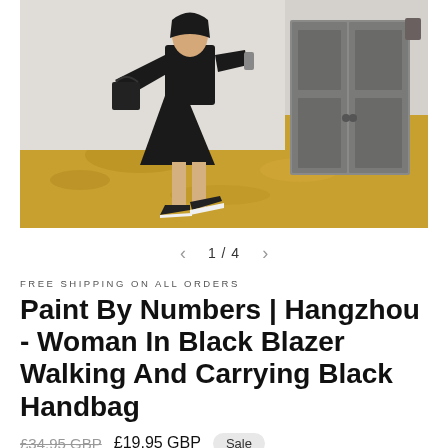[Figure (photo): Woman in black blazer and black dress walking while carrying a black handbag, wearing black sneakers. Background shows an old building with grey double doors and a golden/yellow worn floor.]
1 / 4
FREE SHIPPING ON ALL ORDERS
Paint By Numbers | Hangzhou - Woman In Black Blazer Walking And Carrying Black Handbag
£34.95 GBP  £19.95 GBP  Sale